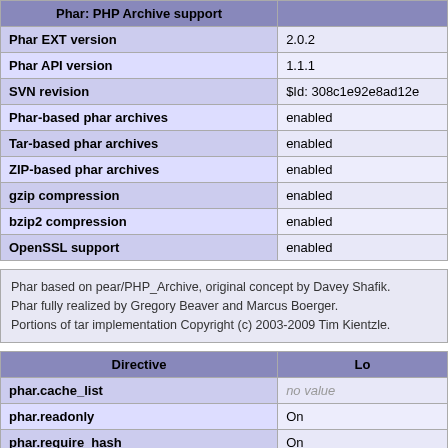| Phar: PHP Archive support |  |
| --- | --- |
| Phar EXT version | 2.0.2 |
| Phar API version | 1.1.1 |
| SVN revision | $Id: 308c1e92e8ad12e |
| Phar-based phar archives | enabled |
| Tar-based phar archives | enabled |
| ZIP-based phar archives | enabled |
| gzip compression | enabled |
| bzip2 compression | enabled |
| OpenSSL support | enabled |
Phar based on pear/PHP_Archive, original concept by Davey Shafik.
Phar fully realized by Gregory Beaver and Marcus Boerger.
Portions of tar implementation Copyright (c) 2003-2009 Tim Kientzle.
| Directive | Lo |
| --- | --- |
| phar.cache_list | no value |
| phar.readonly | On |
| phar.require_hash | On |
posix